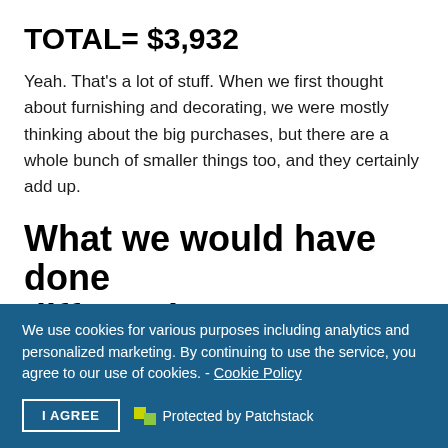TOTAL= $3,932
Yeah. That's a lot of stuff. When we first thought about furnishing and decorating, we were mostly thinking about the big purchases, but there are a whole bunch of smaller things too, and they certainly add up.
What we would have done differently
Microfiber sheets instead of cotton
We use cookies for various purposes including analytics and personalized marketing. By continuing to use the service, you agree to our use of cookies. - Cookie Policy
I AGREE   Protected by Patchstack